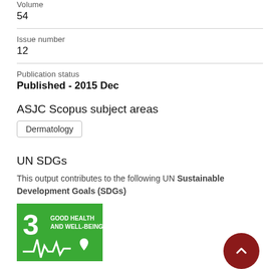Volume
54
Issue number
12
Publication status
Published - 2015 Dec
ASJC Scopus subject areas
Dermatology
UN SDGs
This output contributes to the following UN Sustainable Development Goals (SDGs)
[Figure (illustration): UN SDG 3 - Good Health and Well-Being icon with green background, white heartbeat/health line and heart icon]